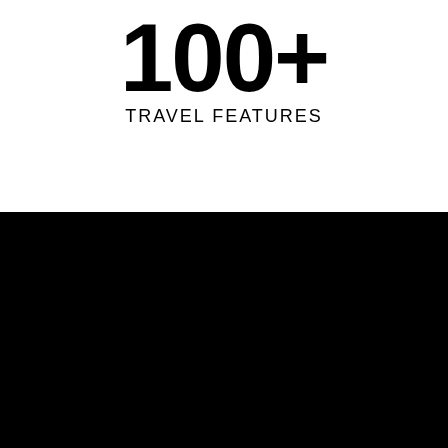100+
TRAVEL FEATURES
About Us
^